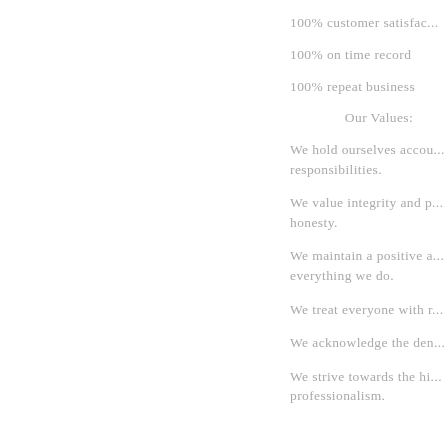100% customer satisfac...
100% on time record
100% repeat business
Our Values:
We hold ourselves accou... responsibilities.
We value integrity and p... honesty.
We maintain a positive a... everything we do.
We treat everyone with r...
We acknowledge the den...
We strive towards the hi... professionalism.